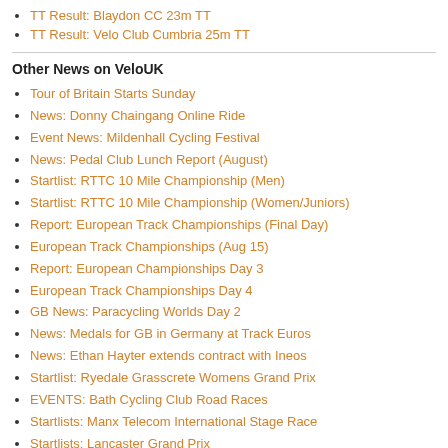TT Result: Blaydon CC 23m TT
TT Result: Velo Club Cumbria 25m TT
Other News on VeloUK
Tour of Britain Starts Sunday
News: Donny Chaingang Online Ride
Event News: Mildenhall Cycling Festival
News: Pedal Club Lunch Report (August)
Startlist: RTTC 10 Mile Championship (Men)
Startlist: RTTC 10 Mile Championship (Women/Juniors)
Report: European Track Championships (Final Day)
European Track Championships (Aug 15)
Report: European Championships Day 3
European Track Championships Day 4
GB News: Paracycling Worlds Day 2
News: Medals for GB in Germany at Track Euros
News: Ethan Hayter extends contract with Ineos
Startlist: Ryedale Grasscrete Womens Grand Prix
EVENTS: Bath Cycling Club Road Races
Startlists: Manx Telecom International Stage Race
Startlists: Lancaster Grand Prix
Startlist: Barnsley Town Centre Races
News: Shimano 105 Di2 Ribble Range